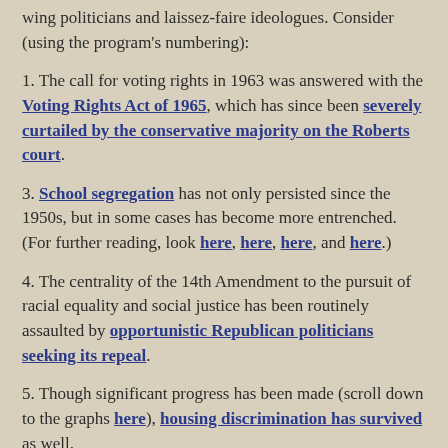wing politicians and laissez-faire ideologues. Consider (using the program's numbering):
1. The call for voting rights in 1963 was answered with the Voting Rights Act of 1965, which has since been severely curtailed by the conservative majority on the Roberts court.
3. School segregation has not only persisted since the 1950s, but in some cases has become more entrenched. (For further reading, look here, here, here, and here.)
4. The centrality of the 14th Amendment to the pursuit of racial equality and social justice has been routinely assaulted by opportunistic Republican politicians seeking its repeal.
5. Though significant progress has been made (scroll down to the graphs here), housing discrimination has survived as well.
7. Two graphs from the Post's Wonkblog on the history of black unemployment: